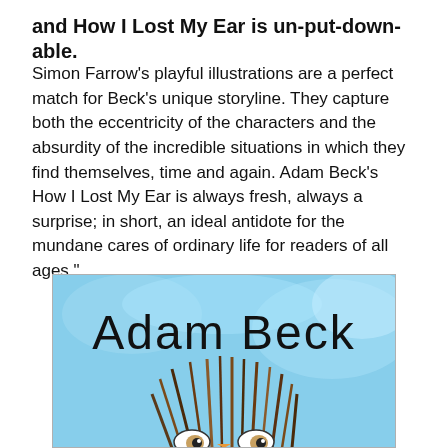and How I Lost My Ear is un-put-down-able.
Simon Farrow’s playful illustrations are a perfect match for Beck’s unique storyline. They capture both the eccentricity of the characters and the absurdity of the incredible situations in which they find themselves, time and again. Adam Beck’s How I Lost My Ear is always fresh, always a surprise; in short, an ideal antidote for the mundane cares of ordinary life for readers of all ages.”
[Figure (illustration): Book cover illustration showing the text 'Adam Beck' in large handwritten-style font over a blue watercolor background, with a whimsical illustrated character (creature with spiky feathers/hair) visible at the bottom of the image.]